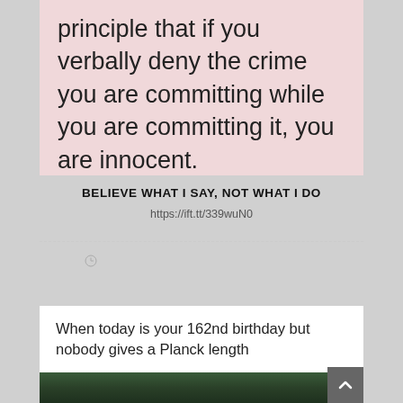[Figure (illustration): Pink background text box showing partial text: 'principle that if you verbally deny the crime you are committing while you are committing it, you are innocent.']
BELIEVE WHAT I SAY, NOT WHAT I DO
https://ift.tt/339wuN0
⊙
When today is your 162nd birthday but nobody gives a Planck length
[Figure (photo): A historical portrait photo of a person against a dark green background, partially visible at bottom of page. A dark grey back-to-top button with upward arrow is visible in the bottom right corner.]